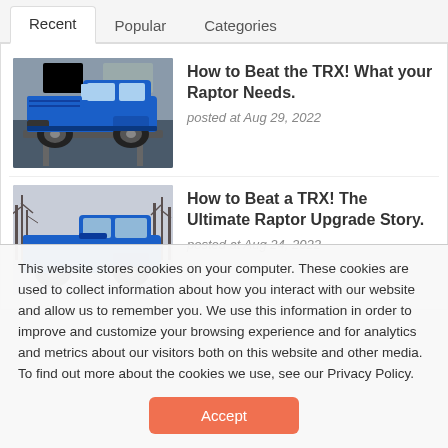Recent | Popular | Categories
[Figure (photo): Blue Ford Raptor truck on lift in garage, side view]
How to Beat the TRX! What your Raptor Needs.
posted at Aug 29, 2022
[Figure (photo): Blue Ford Raptor truck outdoors with bare trees in background]
How to Beat a TRX! The Ultimate Raptor Upgrade Story.
posted at Aug 24, 2022
This website stores cookies on your computer. These cookies are used to collect information about how you interact with our website and allow us to remember you. We use this information in order to improve and customize your browsing experience and for analytics and metrics about our visitors both on this website and other media. To find out more about the cookies we use, see our Privacy Policy.
Accept